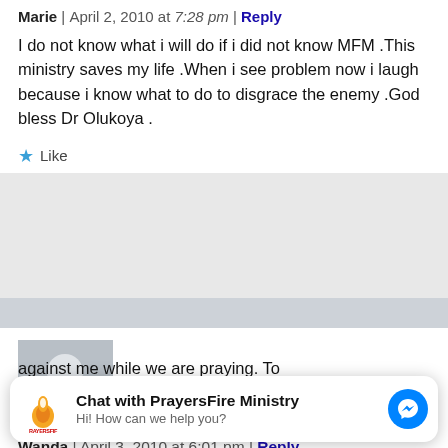Marie | April 2, 2010 at 7:28 pm | Reply
I do not know what i will do if i did not know MFM .This ministry saves my life .When i see problem now i laugh because i know what to do to disgrace the enemy .God bless Dr Olukoya .
Like
[Figure (photo): Default user avatar placeholder image (gray silhouette of a person on gray background)]
Wanda | April 3, 2010 at 6:01 pm | Reply
against me while we are praying. To
[Figure (screenshot): Chat widget: Chat with PrayersFire Ministry logo and Messenger button. Text: Hi! How can we help you?]